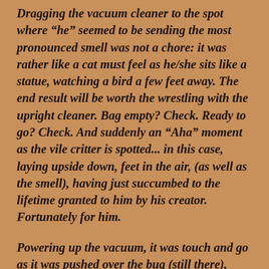Dragging the vacuum cleaner to the spot where “he” seemed to be sending the most pronounced smell was not a chore: it was rather like a cat must feel as he/she sits like a statue, watching a bird a few feet away. The end result will be worth the wrestling with the upright cleaner. Bag empty? Check. Ready to go? Check. And suddenly an “Aha” moment as the vile critter is spotted... in this case, laying upside down, feet in the air, (as well as the smell), having just succumbed to the lifetime granted to him by his creator. Fortunately for him.
Powering up the vacuum, it was touch and go as it was pushed over the bug (still there), returned, run over again, repeated several more times, all to no avail. This was getting frustrating! This was